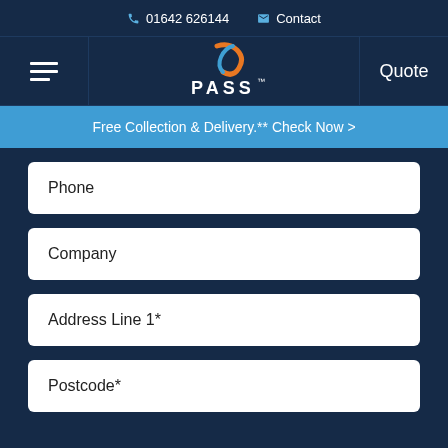01642 626144  Contact
[Figure (logo): PASS logo with orange and blue swoosh above text PASS]
Quote
Free Collection & Delivery.** Check Now >
Phone
Company
Address Line 1*
Postcode*